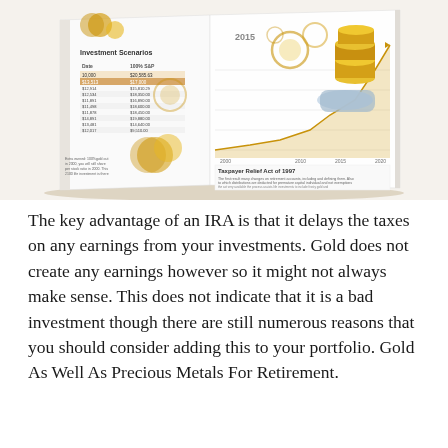[Figure (illustration): A photograph of an open financial brochure or booklet about gold IRA investments. The left page shows a table titled 'Investment Scenarios' with columns for 'Date' and '100% S&P' with multiple rows of figures, surrounded by gold coin decorative imagery. The right page shows a line/area chart with years 2000, 2010, 2015, 2020 on x-axis and upward trending line, gold stacked coins held by a hand in a business suit sleeve, gears and financial imagery, and text 'Taxpayer Relief Act of 1997' with small body text. The year 2018 is prominently labeled.]
The key advantage of an IRA is that it delays the taxes on any earnings from your investments. Gold does not create any earnings however so it might not always make sense. This does not indicate that it is a bad investment though there are still numerous reasons that you should consider adding this to your portfolio. Gold As Well As Precious Metals For Retirement.